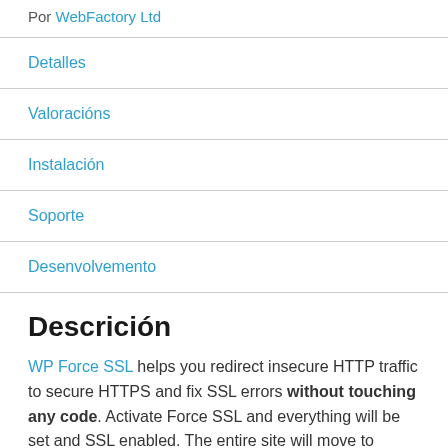Por WebFactory Ltd
Detalles
Valoracións
Instalación
Soporte
Desenvolvemento
Descrición
WP Force SSL helps you redirect insecure HTTP traffic to secure HTTPS and fix SSL errors without touching any code. Activate Force SSL and everything will be set and SSL enabled. The entire site will move to HTTPS using your SSL certificate. It